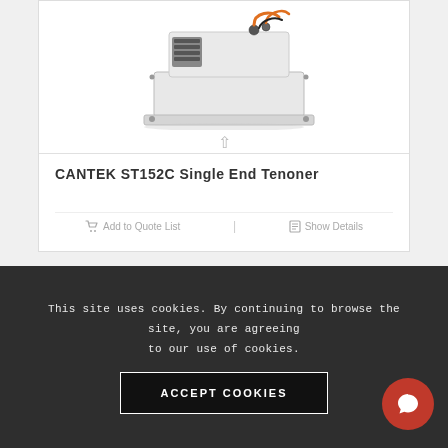[Figure (photo): CANTEK ST152C Single End Tenoner machine photo — white industrial woodworking machine with orange hoses and pneumatic fittings on top, shown from a three-quarter angle]
CANTEK ST152C Single End Tenoner
Add to Quote List   |   Show Details
This site uses cookies. By continuing to browse the site, you are agreeing to our use of cookies.
ACCEPT COOKIES